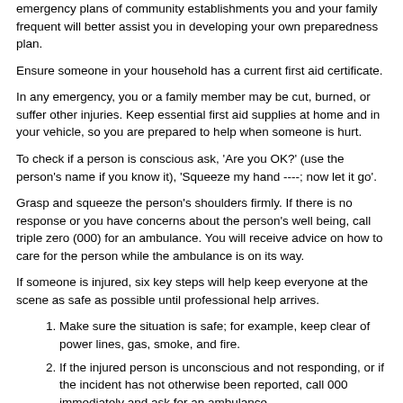emergency plans of community establishments you and your family frequent will better assist you in developing your own preparedness plan.
Ensure someone in your household has a current first aid certificate.
In any emergency, you or a family member may be cut, burned, or suffer other injuries. Keep essential first aid supplies at home and in your vehicle, so you are prepared to help when someone is hurt.
To check if a person is conscious ask, 'Are you OK?' (use the person's name if you know it), 'Squeeze my hand ----; now let it go'.
Grasp and squeeze the person's shoulders firmly. If there is no response or you have concerns about the person's well being, call triple zero (000) for an ambulance. You will receive advice on how to care for the person while the ambulance is on its way.
If someone is injured, six key steps will help keep everyone at the scene as safe as possible until professional help arrives.
Make sure the situation is safe; for example, keep clear of power lines, gas, smoke, and fire.
If the injured person is unconscious and not responding, or if the incident has not otherwise been reported, call 000 immediately and ask for an ambulance.